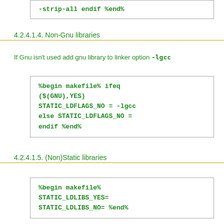[Figure (screenshot): Code box showing: -strip-all endif %end%]
4.2.4.1.4. Non-Gnu libraries
If Gnu isn't used add gnu library to linker option -lgcc
[Figure (screenshot): Code box showing: %begin makefile% ifeq ($(GNU),YES) STATIC_LDFLAGS_NO = -lgcc else STATIC_LDFLAGS_NO = endif %end%]
4.2.4.1.5. (Non)Static libraries
[Figure (screenshot): Code box showing: %begin makefile% STATIC_LDLIBS_YES= STATIC_LDLIBS_NO= %end%]